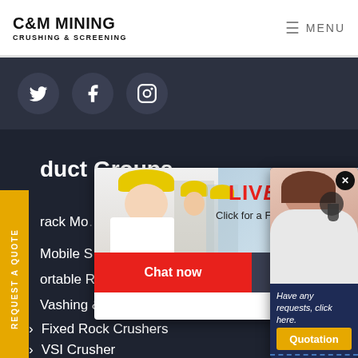C&M MINING CRUSHING & SCREENING | MENU
[Figure (other): Social media icons: Twitter, Facebook, Instagram on dark background]
Product Groups
Track Mo...
Mobile S...
Portable Rock Crushers
Washing & Screening Plants
Fixed Rock Crushers
VSI Crusher
Grinding Mills
[Figure (other): Live chat popup with workers photo, LIVE CHAT heading, 'Click for a Free Consultation', Chat now and Chat later buttons]
[Figure (other): Agent popup with female agent wearing headset, text 'Have any requests, click here.' and Quotation button]
REQUEST A QUOTE